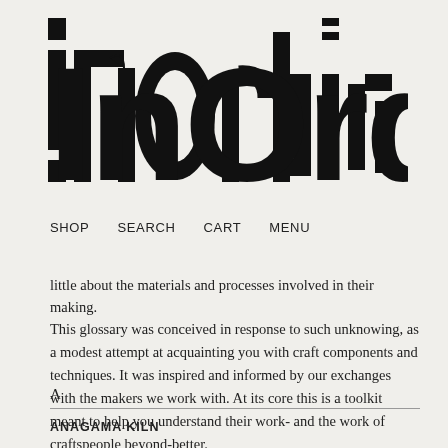[Figure (logo): InOrdinary logo in large bold display font with distinctive segmented/cut letterforms]
SHOP   SEARCH   CART   MENU
little about the materials and processes involved in their making.
This glossary was conceived in response to such unknowing, as a modest attempt at acquainting you with craft components and techniques. It was inspired and informed by our exchanges with the makers we work with. At its core this is a toolkit meant to help you understand their work- and the work of craftspeople beyond-better.
A
ANAGAMA KILN